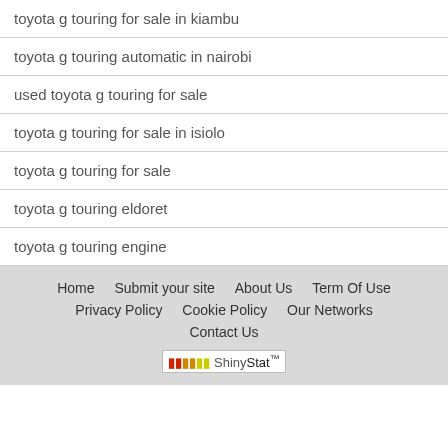toyota g touring for sale in kiambu
toyota g touring automatic in nairobi
used toyota g touring for sale
toyota g touring for sale in isiolo
toyota g touring for sale
toyota g touring eldoret
toyota g touring engine
Home  Submit your site  About Us  Term Of Use  Privacy Policy  Cookie Policy  Our Networks  Contact Us